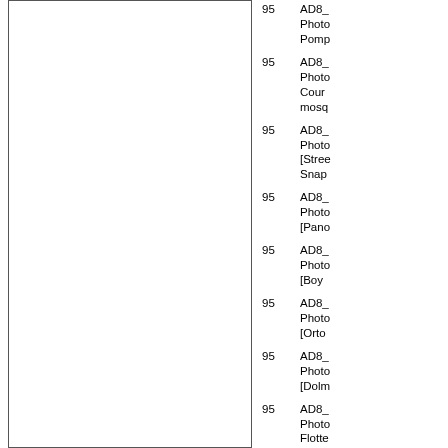|  |  |
| --- | --- |
| 95 | AD8_
Photo
Pomp |
| 95 | AD8_
Photo
Cour
mosq |
| 95 | AD8_
Photo
[Stree
Snap |
| 95 | AD8_
Photo
[Pano |
| 95 | AD8_
Photo
[Boy |
| 95 | AD8_
Photo
[Orto |
| 95 | AD8_
Photo
[Dolm |
| 95 | AD8_
Photo
Flotte
Corne |
| 95 | AD8_
Photo |